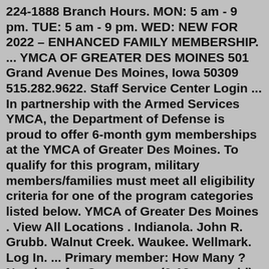224-1888 Branch Hours. MON: 5 am - 9 pm. TUE: 5 am - 9 pm. WED: NEW FOR 2022 – ENHANCED FAMILY MEMBERSHIP. ... YMCA OF GREATER DES MOINES 501 Grand Avenue Des Moines, Iowa 50309 515.282.9622. Staff Service Center Login ... In partnership with the Armed Services YMCA, the Department of Defense is proud to offer 6-month gym memberships at the YMCA of Greater Des Moines. To qualify for this program, military members/families must meet all eligibility criteria for one of the program categories listed below. YMCA of Greater Des Moines . View All Locations . Indianola. John R. Grubb. Walnut Creek. Waukee. Wellmark. Log In. ... Primary member: How Many ? Number of ... One person (0-13 years old) Monthly Dues: $47.00. Join Fee: $25.00 $0. Use code: FINDYOURY. select. The Y is committed to making membership accessible to all. To ensure equitable access, we offer affordable options through financial assistance. In partnership with the Armed Services YMCA, the Department of Defense is proud to offer 6-month gym memberships